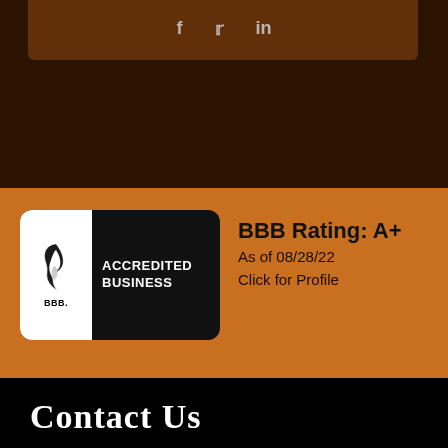[Figure (logo): Social media icons (f, Twitter bird, in) on dark brown background]
[Figure (logo): BBB Accredited Business badge with flame logo on black/white badge]
BBB Rating: A+
As of 08/28/22
Click for Profile
Contact Us